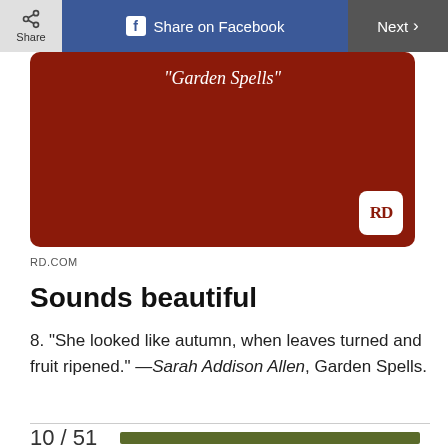Share  Share on Facebook  Next >
[Figure (illustration): Dark red/maroon rounded rectangle image block with italic white text reading "Garden Spells" at the top and an RD logo badge in the bottom-right corner.]
RD.COM
Sounds beautiful
8. “She looked like autumn, when leaves turned and fruit ripened.” —Sarah Addison Allen, Garden Spells.
10 / 51